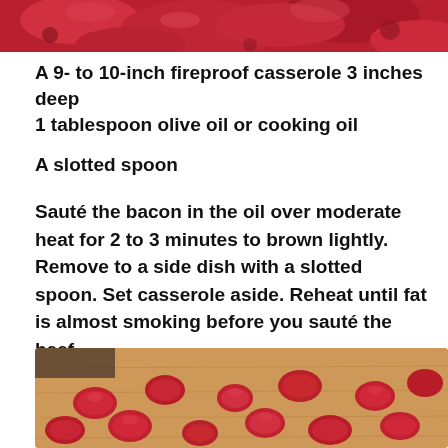[Figure (photo): Close-up photo of raw red meat pieces, partially visible at top of page]
A 9- to 10-inch fireproof casserole 3 inches deep
1 tablespoon olive oil or cooking oil
A slotted spoon
Sauté the bacon in the oil over moderate heat for 2 to 3 minutes to brown lightly. Remove to a side dish with a slotted spoon. Set casserole aside. Reheat until fat is almost smoking before you sauté the beef.
[Figure (photo): Photo of raw beef cubes spread out on a wooden cutting board]